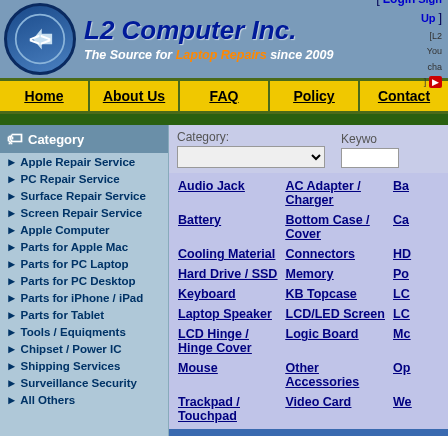[Figure (logo): L2 Computer Inc. logo with circular blue emblem and company name]
L2 Computer Inc. — The Source for Laptop Repairs since 2009
Home
About Us
FAQ
Policy
Contact
Category
► Apple Repair Service
► PC Repair Service
► Surface Repair Service
► Screen Repair Service
► Apple Computer
► Parts for Apple Mac
► Parts for PC Laptop
► Parts for PC Desktop
► Parts for iPhone / iPad
► Parts for Tablet
► Tools / Equiqments
► Chipset / Power IC
► Shipping Services
► Surveillance Security
► All Others
Category: (dropdown) | Keyword (input)
Audio Jack | AC Adapter / Charger | Ba... | Battery | Bottom Case / Cover | Ca... | Cooling Material | Connectors | HD... | Hard Drive / SSD | Memory | Po... | Keyboard | KB Topcase | LC... | Laptop Speaker | LCD/LED Screen | LC... | LCD Hinge / Hinge Cover | Logic Board | Mc... | Mouse | Other Accessories | Op... | Trackpad / Touchpad | Video Card | We...
» (Parts for Apple Mac)
Item #: 5214
Name: CR2025